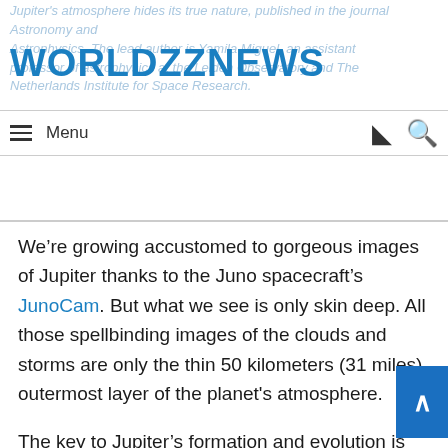WORLDZZNEWS
Jupiter's atmosphere hides its true nature, published in the journal Astronomy and Astrophysics. The lead author is Yamila Miguel, an assistant professor of astrophysics at the Leiden Observatory and The Netherlands Institute for Space Research.
We’re growing accustomed to gorgeous images of Jupiter thanks to the Juno spacecraft’s JunoCam. But what we see is only skin deep. All those spellbinding images of the clouds and storms are only the thin 50 kilometers (31 miles) outermost layer of the planet's atmosphere.
The key to Jupiter’s formation and evolution is deeply buried in the planet's atmosphere, which is tens of thousands of kilometers deep.